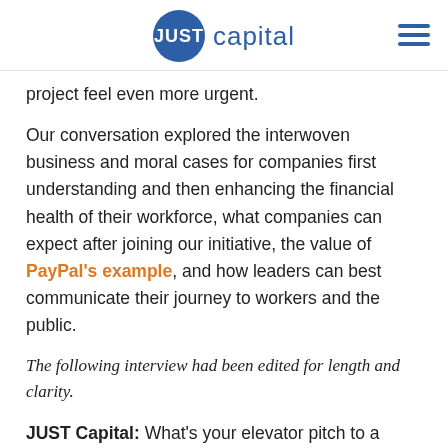JUST capital
project feel even more urgent.
Our conversation explored the interwoven business and moral cases for companies first understanding and then enhancing the financial health of their workforce, what companies can expect after joining our initiative, the value of PayPal's example, and how leaders can best communicate their journey to workers and the public.
The following interview had been edited for length and clarity.
JUST Capital: What's your elevator pitch to a CEO for joining the Worker Financial Wellness Initiative?
Jennifer Tescher: Your employees are one of your